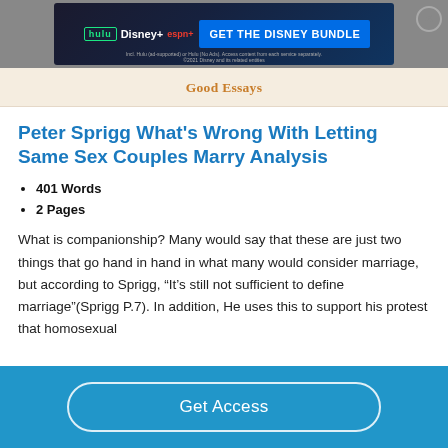[Figure (screenshot): Disney Bundle advertisement banner with Hulu, Disney+, ESPN+ logos and GET THE DISNEY BUNDLE call to action]
Good Essays
Peter Sprigg What's Wrong With Letting Same Sex Couples Marry Analysis
401 Words
2 Pages
What is companionship? Many would say that these are just two things that go hand in hand in what many would consider marriage, but according to Sprigg, “It’s still not sufficient to define marriage”(Sprigg P.7). In addition, He uses this to support his protest that homosexual
Get Access